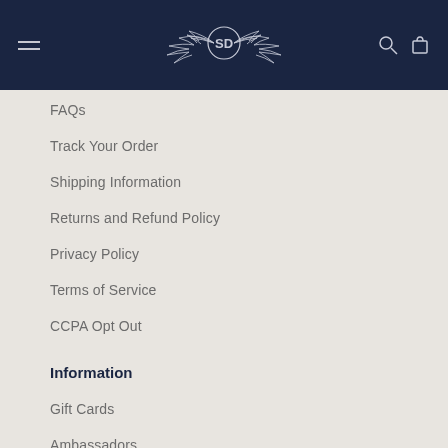SD Apparel navigation header
FAQs
Track Your Order
Shipping Information
Returns and Refund Policy
Privacy Policy
Terms of Service
CCPA Opt Out
Information
Gift Cards
Ambassadors